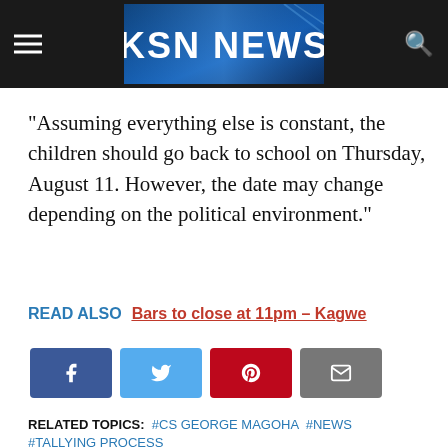KSN NEWS
“Assuming everything else is constant, the children should go back to school on Thursday, August 11. However, the date may change depending on the political environment.”
READ ALSO  Bars to close at 11pm – Kagwe
[Figure (other): Social share buttons: Facebook, Twitter, Pinterest, Email]
RELATED TOPICS: #CS GEORGE MAGOHA  #NEWS  #TALLYING PROCESS